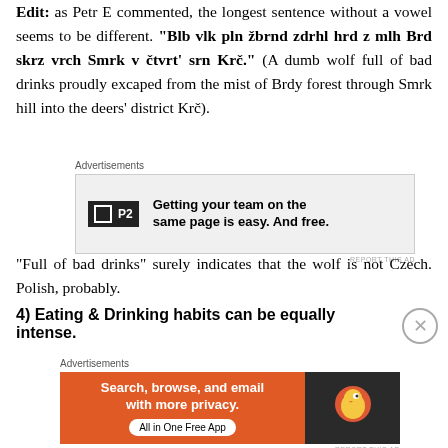Edit: as Petr E commented, the longest sentence without a vowel seems to be different. "Blb vlk pln žbrnd zdrhl hrd z mlh Brd skrz vrch Smrk v čtvrt' srn Krč." (A dumb wolf full of bad drinks proudly excaped from the mist of Brdy forest through Smrk hill into the deers' district Krč).
[Figure (other): Advertisement for P2 app: 'Getting your team on the same page is easy. And free.']
“Full of bad drinks” surely indicates that the wolf is not Czech. Polish, probably.
4) Eating & Drinking habits can be equally intense.
[Figure (other): Advertisement for DuckDuckGo app: 'Search, browse, and email with more privacy. All in One Free App']